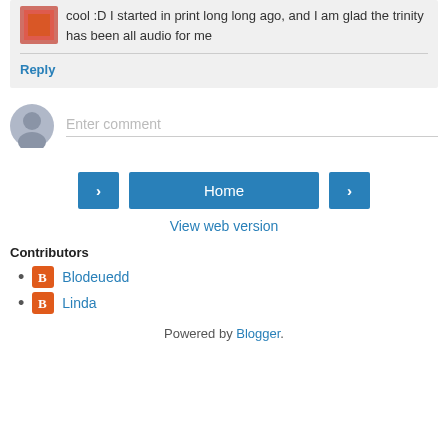cool :D I started in print long long ago, and I am glad the trinity has been all audio for me
Reply
Enter comment
Home
View web version
Contributors
Blodeuedd
Linda
Powered by Blogger.